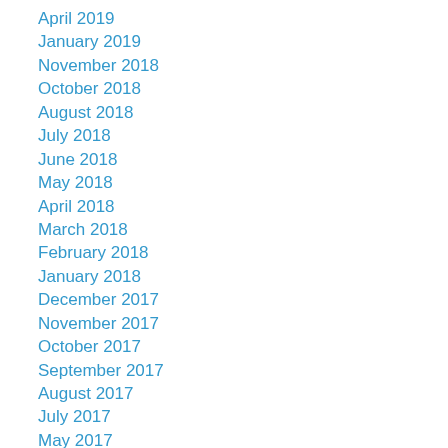April 2019
January 2019
November 2018
October 2018
August 2018
July 2018
June 2018
May 2018
April 2018
March 2018
February 2018
January 2018
December 2017
November 2017
October 2017
September 2017
August 2017
July 2017
May 2017
April 2017